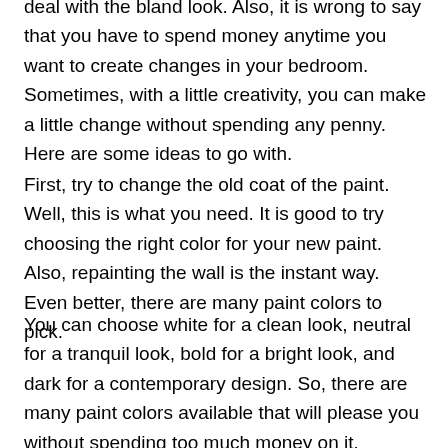deal with the bland look. Also, it is wrong to say that you have to spend money anytime you want to create changes in your bedroom. Sometimes, with a little creativity, you can make a little change without spending any penny. Here are some ideas to go with.
First, try to change the old coat of the paint. Well, this is what you need. It is good to try choosing the right color for your new paint. Also, repainting the wall is the instant way. Even better, there are many paint colors to pick.
You can choose white for a clean look, neutral for a tranquil look, bold for a bright look, and dark for a contemporary design. So, there are many paint colors available that will please you without spending too much money on it. Additionally, painting is the right project for all DIYors. This project is also great to finish in just a